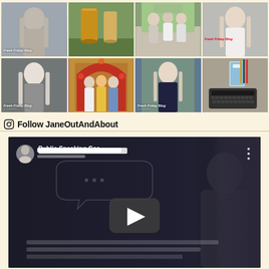[Figure (photo): Instagram grid of 8 photos in 2 rows of 4. Row 1: woman with long blonde hair (Fresh Friday Blog overlay), two drinks on outdoor table, group of three people outdoors, woman in white top (Fresh Friday Blog overlay in red). Row 2: older woman with long white hair (Fresh Friday Blog overlay), group with floral arch background, woman in dark top smiling (Fresh Friday Blog overlay), typewriter with book/product.]
Follow JaneOutAndAbout
[Figure (screenshot): YouTube video thumbnail showing 'Public Speaking Coa...' with a woman avatar icon, speech bubble graphic, play button, and a woman in black on the right side. Dark background with caption text lines.]